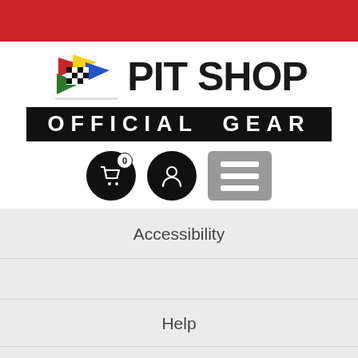[Figure (logo): Pit Shop Official Gear logo with racing flags and shopping cart, user, and menu icons]
Accessibility
Help
Store Location
Get 10% off!